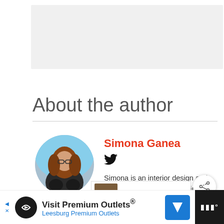[Figure (other): Gray placeholder/advertisement box at top of page]
About the author
[Figure (photo): Circular profile photo of Simona Ganea, a woman with long brown hair sitting with knees up, outdoors with blue sky background]
Simona Ganea
Twitter bird icon
Simona is an interior design and décor writer for Homedit. Since 2011, she has been writ[ing about] interior design, DIY solutions, and the latest trends in home
[Figure (screenshot): What's Next widget showing thumbnail and text: How To Get Rid Of Wood...]
[Figure (other): Advertisement bar: Visit Premium Outlets® Leesburg Premium Outlets with logo and navigation icon]